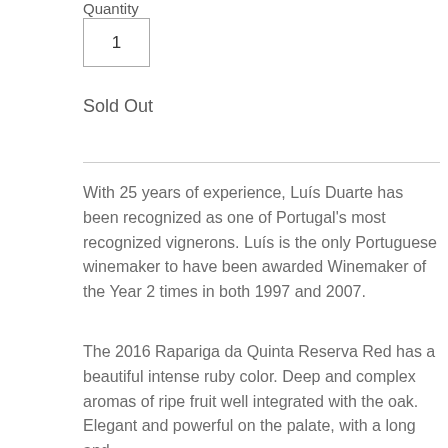Quantity
1
Sold Out
With 25 years of experience, Luís Duarte has been recognized as one of Portugal's most recognized vignerons. Luís is the only Portuguese winemaker to have been awarded Winemaker of the Year 2 times in both 1997 and 2007.
The 2016 Rapariga da Quinta Reserva Red has a beautiful intense ruby color. Deep and complex aromas of ripe fruit well integrated with the oak. Elegant and powerful on the palate, with a long and